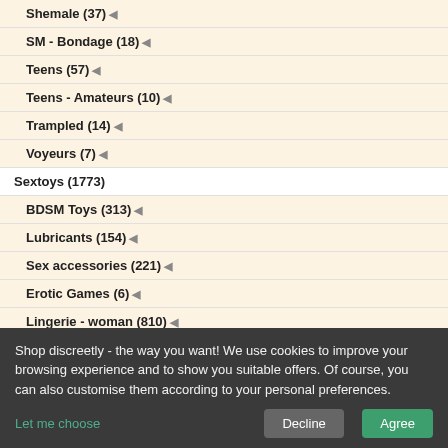Shemale (37)
SM - Bondage (18)
Teens (57)
Teens - Amateurs (10)
Trampled (14)
Voyeurs (7)
Sextoys (1773)
BDSM Toys (313)
Lubricants (154)
Sex accessories (221)
Erotic Games (6)
Lingerie - woman (810)
Swim - women (14)
Sexy Costumes (16)
Underwear - men (162)
Cute White Girls Big Black Cocks
Running time: approx. 150 min
[Figure (photo): DVD cover for 'Cute White Girls Big Black Cocks' featuring Jessie Volt]
more info
19.90 EUR 9.90 EUR incl. VAT. + shipping costs
Buy now
Pussy Stretchers
Shop discreetly - the way you want! We use cookies to improve your browsing experience and to show you suitable offers. Of course, you can also customise them according to your personal preferences.
Let me choose
Decline
Agree